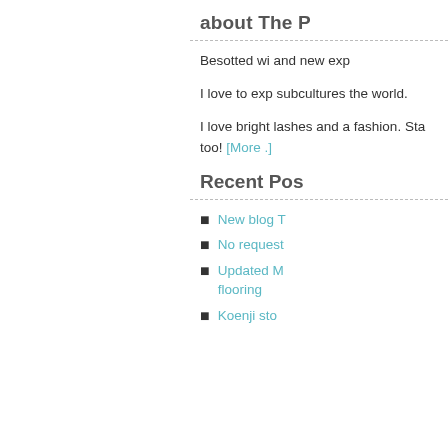about The P
Besotted wi and new exp
I love to exp subcultures the world.
I love bright lashes and fashion. Sta too! [More .]
Recent Pos
New blog T
No request
Updated M flooring
Koenji sto